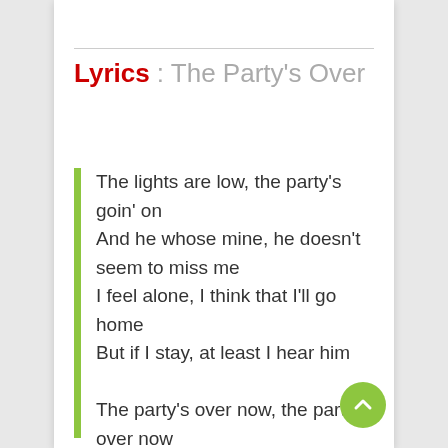Lyrics : The Party's Over
The lights are low, the party's goin' on
And he whose mine, he doesn't seem to miss me
I feel alone, I think that I'll go home
But if I stay, at least I hear him

The party's over now, the party's over now